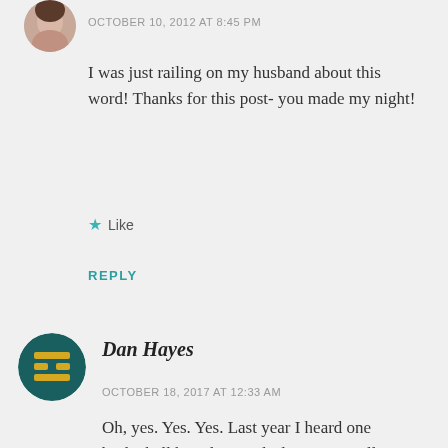[Figure (photo): Circular avatar photo of a woman, partially cropped at top]
OCTOBER 10, 2012 AT 8:45 PM
I was just railing on my husband about this word! Thanks for this post- you made my night!
★ Like
REPLY
[Figure (logo): Circular avatar with dark teal background and yellow/gold stylized H or ennui symbol icon]
Dan Hayes
OCTOBER 18, 2017 AT 12:33 AM
Oh, yes. Yes. Yes. Last year I heard one basketball broadcaster declare. "He really